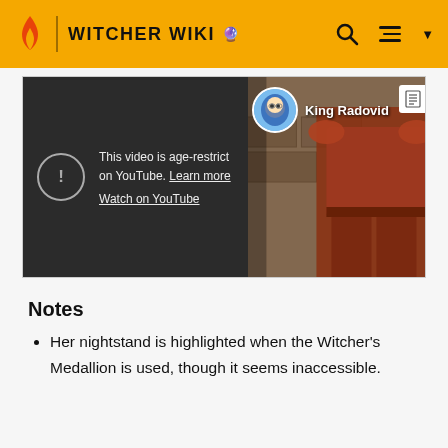WITCHER WIKI
[Figure (screenshot): An embedded YouTube video player showing an age restriction warning. Left side is dark with a warning circle icon and text 'This video is age-restricted on YouTube. Learn more' and 'Watch on YouTube'. Right side shows a Witcher character in armor with a channel avatar (cartoon character) and channel name 'King Radovid' overlaid at top.]
Notes
Her nightstand is highlighted when the Witcher's Medallion is used, though it seems inaccessible.